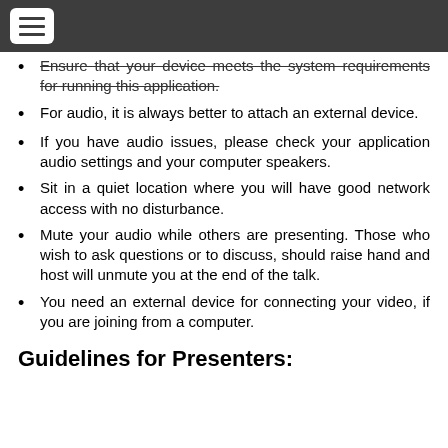Ensure that your device meets the system requirements for running this application.
For audio, it is always better to attach an external device.
If you have audio issues, please check your application audio settings and your computer speakers.
Sit in a quiet location where you will have good network access with no disturbance.
Mute your audio while others are presenting. Those who wish to ask questions or to discuss, should raise hand and host will unmute you at the end of the talk.
You need an external device for connecting your video, if you are joining from a computer.
Guidelines for Presenters: